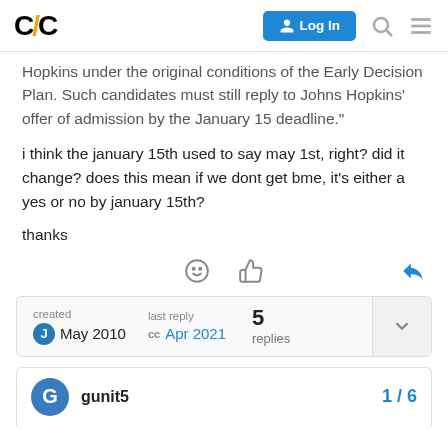C/C | Log In
Hopkins under the original conditions of the Early Decision Plan. Such candidates must still reply to Johns Hopkins' offer of admission by the January 15 deadline."
i think the january 15th used to say may 1st, right? did it change? does this mean if we dont get bme, it's either a yes or no by january 15th?
thanks
created May 2010 | last reply Apr 2021 | 5 replies
gunit5 | 1 / 6